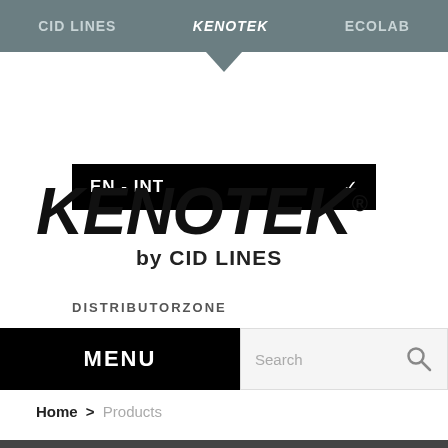CID LINES  KENOTEK  ECOLAB
EN - INT
DISTRIBUTORZONE
[Figure (logo): KENOTEK by CID LINES brand logo in bold italic black text]
MENU
Search
Home > Products